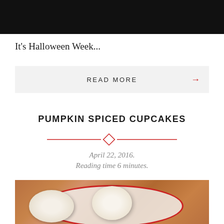[Figure (photo): Dark/black background image at the top of the page (partial crop of a photo)]
It's Halloween Week...
READ MORE →
PUMPKIN SPICED CUPCAKES
April 22, 2016.
Reading time 6 minutes.
[Figure (photo): Photo of pumpkin spiced cupcakes with white cream frosting and chocolate shavings on a decorative plate with heart patterns, on a wooden surface]